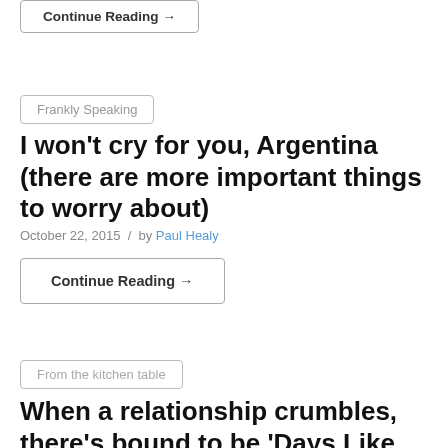Continue Reading →
Frankly Speaking
I won't cry for you, Argentina (there are more important things to worry about)
October 22, 2015 / by Paul Healy
Continue Reading →
From the kitchen table
When a relationship crumbles, there's bound to be 'Days Like This!'